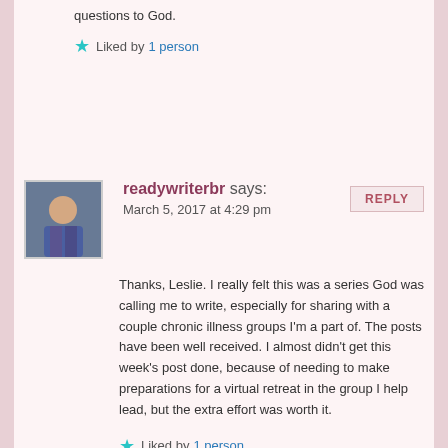questions to God.
★ Liked by 1 person
readywriterbr says:
March 5, 2017 at 4:29 pm
Thanks, Leslie. I really felt this was a series God was calling me to write, especially for sharing with a couple chronic illness groups I'm a part of. The posts have been well received. I almost didn't get this week's post done, because of needing to make preparations for a virtual retreat in the group I help lead, but the extra effort was worth it.
★ Liked by 1 person